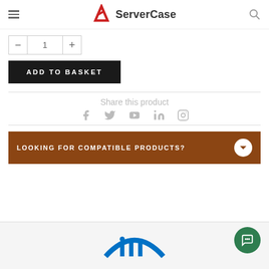ServerCase
[Figure (screenshot): Quantity selector with minus, input field showing 1, and plus button]
ADD TO BASKET
Share this product
[Figure (infographic): Social media icons: Facebook, Twitter, YouTube, LinkedIn, Instagram]
LOOKING FOR COMPATIBLE PRODUCTS?
[Figure (logo): Intel logo partial view at bottom of page]
[Figure (other): Green chat bubble icon in bottom right corner]